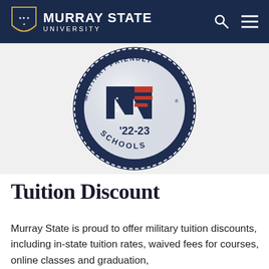MURRAY STATE UNIVERSITY
[Figure (logo): Military Friendly Schools badge for '22-23 year, circular dark navy badge with stylized M logo incorporating American flag design, text reading SCHOOLS at bottom]
Tuition Discount
Murray State is proud to offer military tuition discounts, including in-state tuition rates, waived fees for courses, online classes and graduation,